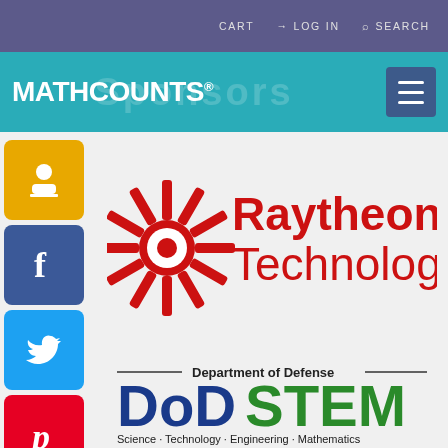CART  LOG IN  SEARCH
[Figure (logo): MATHCOUNTS logo in white on teal background with hamburger menu button and Sponsors watermark text]
[Figure (logo): Raytheon Technologies logo - red sunburst icon with Raytheon Technologies in red text]
[Figure (logo): DoDSTEM - Department of Defense - Science Technology Engineering Mathematics logo in blue and green]
[Figure (logo): Social media sidebar with RSS/share, Facebook, Twitter, and Pinterest buttons]